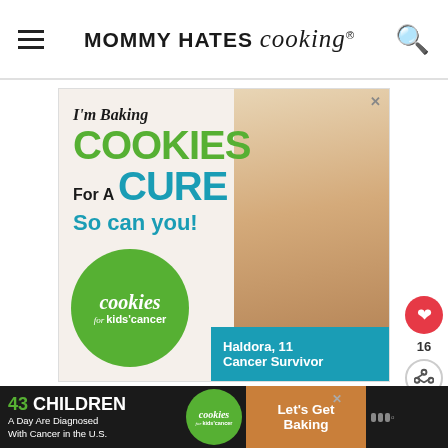MOMMY HATES cooking®
[Figure (illustration): Advertisement for Cookies for Kids' Cancer. Text reads: I'm Baking COOKIES For A CURE So can you! Features a smiling blonde girl holding a plate of cookies. Green circle logo reads: cookies for kids' cancer™. Teal band reads: Haldora, 11 Cancer Survivor.]
Remember you can grab a printable copy HERE!
[Figure (illustration): Bottom banner advertisement: 43 CHILDREN A Day Are Diagnosed With Cancer in the U.S. Cookies for kids' cancer logo. Let's Get Baking button.]